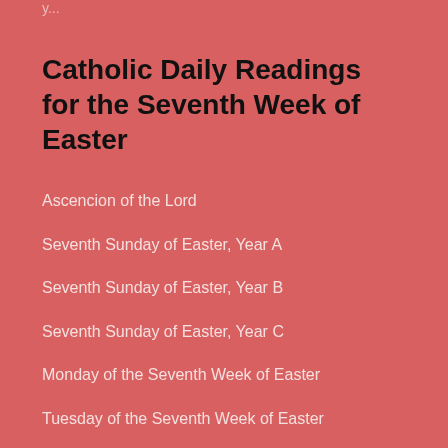y...
Catholic Daily Readings for the Seventh Week of Easter
Ascencion of the Lord
Seventh Sunday of Easter, Year A
Seventh Sunday of Easter, Year B
Seventh Sunday of Easter, Year C
Monday of the Seventh Week of Easter
Tuesday of the Seventh Week of Easter
Wednesday of the Seventh Week of Easter
Thursday of the Seventh Week of Easter